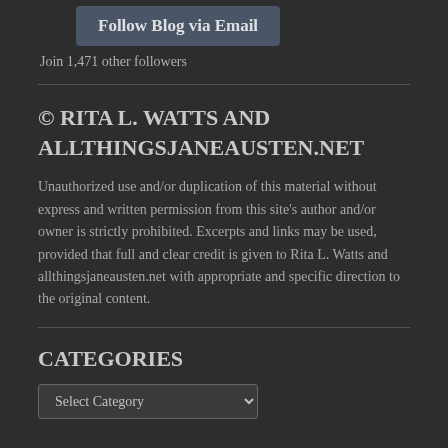[Figure (other): Follow Blog via Email button with rounded rectangle dark background]
Join 1,471 other followers
© RITA L. WATTS AND ALLTHINGSJANEAUSTEN.NET
Unauthorized use and/or duplication of this material without express and written permission from this site's author and/or owner is strictly prohibited. Excerpts and links may be used, provided that full and clear credit is given to Rita L. Watts and allthingsjaneausten.net with appropriate and specific direction to the original content.
CATEGORIES
Select Category